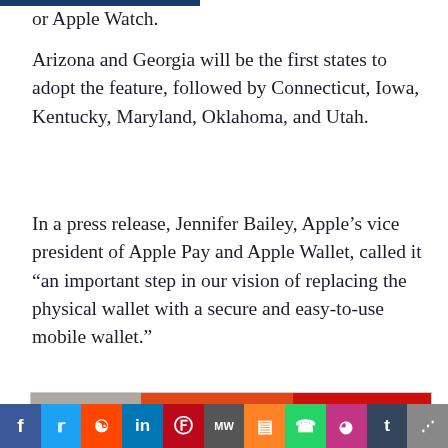or Apple Watch.
Arizona and Georgia will be the first states to adopt the feature, followed by Connecticut, Iowa, Kentucky, Maryland, Oklahoma, and Utah.
In a press release, Jennifer Bailey, Apple’s vice president of Apple Pay and Apple Wallet, called it “an important step in our vision of replacing the physical wallet with a secure and easy-to-use mobile wallet.”
[Figure (infographic): Advertisement for Bodyframe International Beauty School showing three women, listing services: International Beauty School, Beauty Clinic, Fashion School, Skincare Products Training. Phone numbers: 0633660466, 0612798848]
The U.S. Transportation Security Administration (TSA) will accept the stored IDs as valid forms of identification
f  𝗧  reddit  in  ℗  MW  mix  WhatsApp  Instagram  t  share